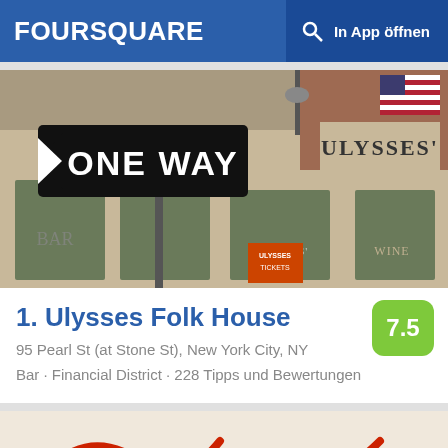FOURSQUARE — In App öffnen
[Figure (photo): Exterior photo of Ulysses Folk House bar showing ONE WAY street sign and ULYSSES' sign on building facade, with American flag visible]
1. Ulysses Folk House
95 Pearl St (at Stone St), New York City, NY
Bar · Financial District · 228 Tipps und Bewertungen
[Figure (photo): Partial photo showing red cursive lettering on white/cream background, bottom of page]